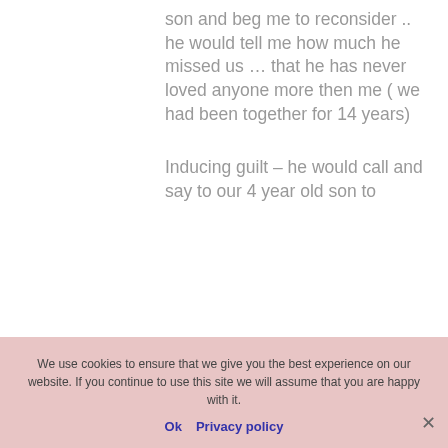son and beg me to reconsider .. he would tell me how much he missed us … that he has never loved anyone more then me ( we had been together for 14 years)

Inducing guilt – he would call and say to our 4 year old son to
We use cookies to ensure that we give you the best experience on our website. If you continue to use this site we will assume that you are happy with it.
Ok  Privacy policy